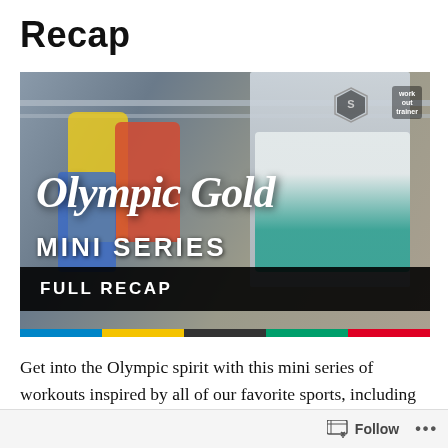Recap
[Figure (photo): Olympic Gold Mini Series Full Recap promotional image showing athletes in colorful jackets doing pull-ups on bars, with script 'Olympic Gold' text and 'MINI SERIES' subtitle, black bottom bar reading 'FULL RECAP', and Olympic-colored stripe at the bottom. Workout Trainer logo in top right.]
Get into the Olympic spirit with this mini series of workouts inspired by all of our favorite sports, including weightlifting, swimming, boxing and gymnastics. After this set of